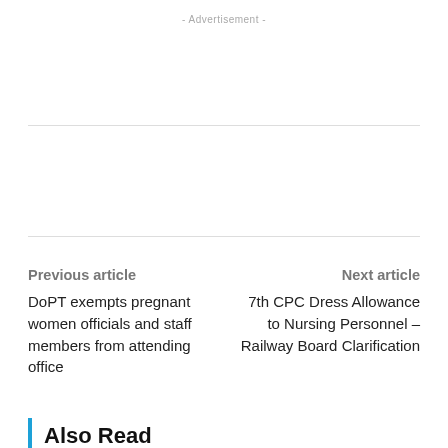- Advertisement -
Previous article
Next article
DoPT exempts pregnant women officials and staff members from attending office
7th CPC Dress Allowance to Nursing Personnel – Railway Board Clarification
Also Read